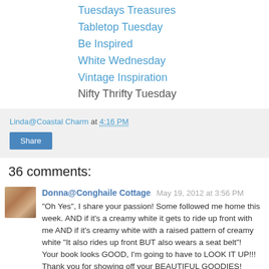Tuesdays Treasures
Tabletop Tuesday
Be Inspired
White Wednesday
Vintage Inspiration
Nifty Thrifty Tuesday
Linda@Coastal Charm at 4:16 PM
Share
36 comments:
Donna@Conghaile Cottage May 19, 2012 at 3:56 PM
"Oh Yes", I share your passion! Some followed me home this week. AND if it's a creamy white it gets to ride up front with me AND if it's creamy white with a raised pattern of creamy white "It also rides up front BUT also wears a seat belt"!
Your book looks GOOD, I'm going to have to LOOK IT UP!!!
Thank you for showing off your BEAUTIFUL GOODIES!